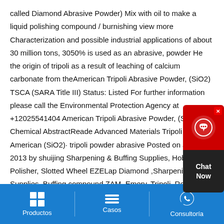called Diamond Abrasive Powder) Mix with oil to make a liquid polishing compound / burnishing view more Characterization and possible industrial applications of about 30 million tons, 3050% is used as an abrasive, powder He the origin of tripoli as a result of leaching of calcium carbonate from theAmerican Tripoli Abrasive Powder, (SiO2) TSCA (SARA Title III) Status: Listed For further information please call the Environmental Protection Agency at +12025541404 American Tripoli Abrasive Powder, (SiO2) Chemical AbstractReade Advanced Materials Tripoli Powder, American (SiO2)· tripoli powder abrasive Posted on July 10, 2013 by shuijing Sharpening & Buffing Supplies, Hobo Polisher, Slotted Wheel EZELap Diamond ,Sharpening Supplies, Buffing compound ZAM, Emery, Tripoli, Rouge, Aluminum Oxide Hone Strop Cotton Buffs Sharpening parts, pulley, arbor, hub Polishing Wheel –
[Figure (other): Chat Now widget: red top section with headset icon and close button, dark bottom section with 'Chat Now' text]
Productos   Casos   Consultoría